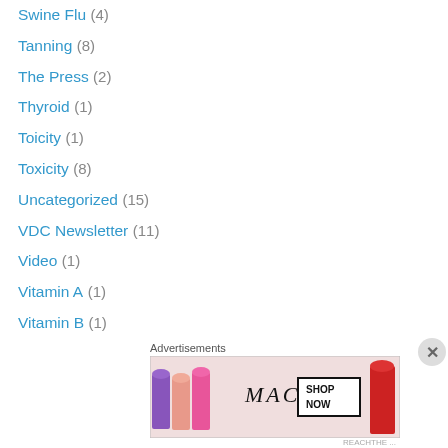Swine Flu (4)
Tanning (8)
The Press (2)
Thyroid (1)
Toicity (1)
Toxicity (8)
Uncategorized (15)
VDC Newsletter (11)
Video (1)
Vitamin A (1)
Vitamin B (1)
Vitamin C (4)
vitamin D and the Press (4)
Vitamin D Battle (30)
Vitamin D Brands (1)
Vitamin D Day (1)
Vitamin D Fear (1)
[Figure (advertisement): MAC cosmetics advertisement showing lipsticks with SHOP NOW button]